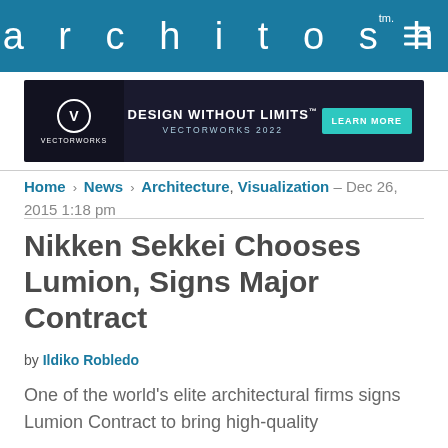architosh™ ≡
[Figure (illustration): Vectorworks 2022 advertisement banner: DESIGN WITHOUT LIMITS™ VECTORWORKS 2022, with a LEARN MORE button]
Home > News > Architecture, Visualization – Dec 26, 2015 1:18 pm
Nikken Sekkei Chooses Lumion, Signs Major Contract
by Ildiko Robledo
One of the world's elite architectural firms signs Lumion Contract to bring high-quality